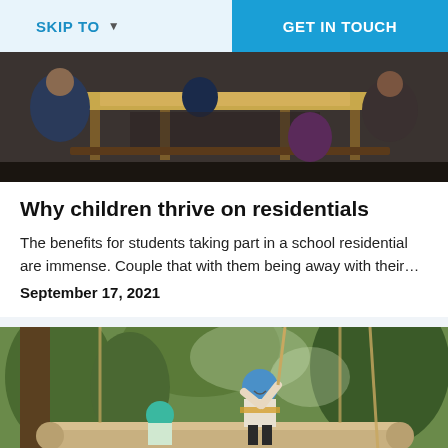SKIP TO   ▾     GET IN TOUCH
[Figure (photo): Children sitting at wooden tables in a classroom or dining setting, viewed from behind]
Why children thrive on residentials
The benefits for students taking part in a school residential are immense. Couple that with them being away with their…
September 17, 2021
[Figure (photo): A child wearing a blue helmet and harness balancing on a log high ropes course among trees, smiling and laughing, with another child in a teal helmet below]